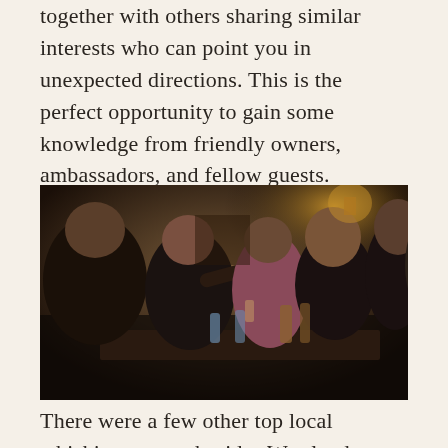together with others sharing similar interests who can point you in unexpected directions. This is the perfect opportunity to gain some knowledge from friendly owners, ambassadors, and fellow guests.
[Figure (photo): A group of people at an indoor whiskey tasting event, gathered around a table with bottles and glasses. A woman is pouring a drink for others, with warm ambient lighting in the background.]
There were a few other top local whiskies present besides Westland.